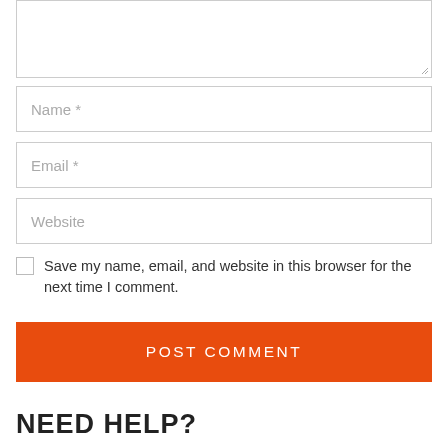[Figure (screenshot): Textarea input box (comment field) at top of page, partially visible, with resize handle at bottom-right corner]
Name *
Email *
Website
Save my name, email, and website in this browser for the next time I comment.
POST COMMENT
NEED HELP?